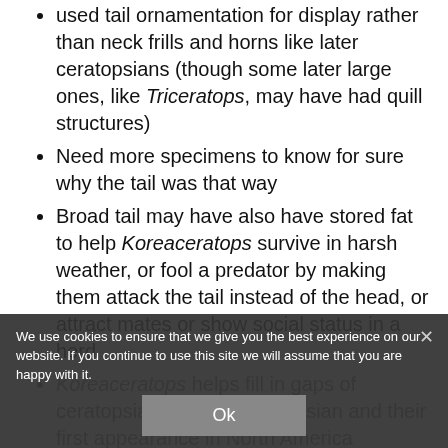used tail ornamentation for display rather than neck frills and horns like later ceratopsians (though some later large ones, like Triceratops, may have had quill structures)
Need more specimens to know for sure why the tail was that way
Broad tail may have also have stored fat to help Koreaceratops survive in harsh weather, or fool a predator by making them attack the tail instead of the head, or attract mates or show social status in a herd
Koreaceratops helps fill in gaps of ceratopsians originating in Asian and their first appearance in North America
Herbivorous
Closely related to Protoceratops and Cerasinops, so it probably had a parrot-like beak and was about 6 ft (1.8 m) long